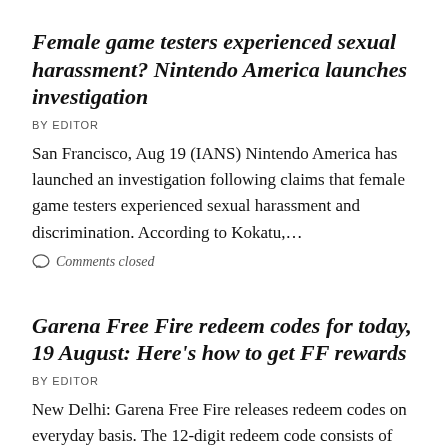Female game testers experienced sexual harassment? Nintendo America launches investigation
BY EDITOR
San Francisco, Aug 19 (IANS) Nintendo America has launched an investigation following claims that female game testers experienced sexual harassment and discrimination. According to Kokatu,…
Comments closed
Garena Free Fire redeem codes for today, 19 August: Here's how to get FF rewards
BY EDITOR
New Delhi: Garena Free Fire releases redeem codes on everyday basis. The 12-digit redeem code consists of alphabets and numbers. Players can get rewards such…
Comments closed